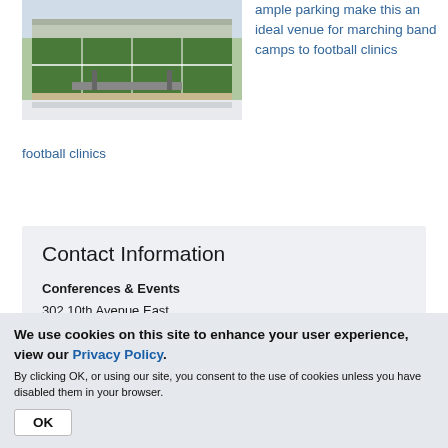[Figure (photo): Aerial view of a stadium with green turf and bleachers, viewed from above showing the field and seating structure.]
ample parking make this an ideal venue for marching band camps to football clinics
Contact Information
Conferences & Events
302 10th Avenue East
RM 214, Memorial Student Center
We use cookies on this site to enhance your user experience, view our Privacy Policy.
By clicking OK, or using our site, you consent to the use of cookies unless you have disabled them in your browser.